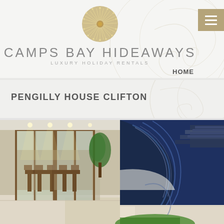CAMPS BAY HIDEAWAYS LUXURY HOLIDAY RENTALS
PENGILLY HOUSE CLIFTON
[Figure (photo): Exterior and interior view of a luxury modern villa showing glass sliding doors opening to a dining area with a large tree inside, and a curved glass facade with blue accent, illuminated by recessed ceiling lights.]